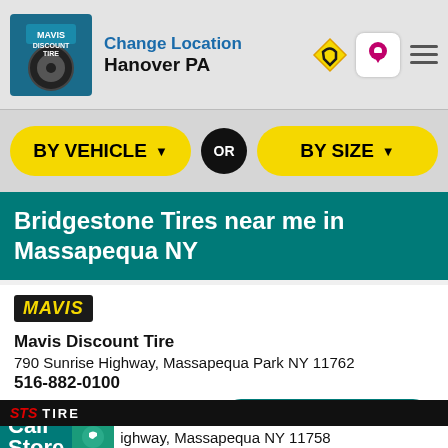Change Location Hanover PA
[Figure (screenshot): BY VEHICLE and BY SIZE dropdown buttons with OR circle]
Bridgestone Tires near me in Massapequa NY
[Figure (logo): Mavis logo badge]
Mavis Discount Tire
790 Sunrise Highway, Massapequa Park NY 11762
516-882-0100
Make My Store   Schedule Appointment
[Figure (logo): STS Tire logo]
Call Store   ...ighway, Massapequa NY 11758